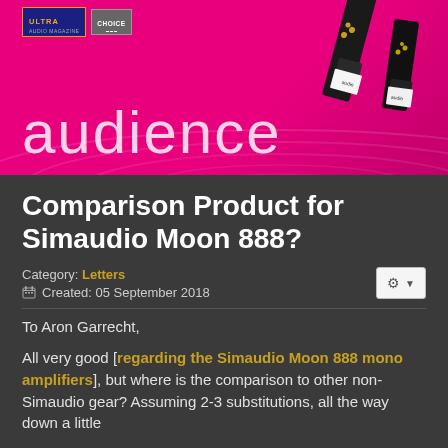[Figure (photo): Audience brand advertisement banner with magenta/pink background, 'audience' text in white, two XLR cable connectors on the right, and Ultra Audio Choice logo badges at top left]
Comparison Product for Simaudio Moon 888?
Category: Letters
Created: 05 September 2018
To Aron Garrecht,
All very good [regarding the Simaudio Moon 888 mono amplifiers], but where is the comparison to other non-Simaudio gear? Assuming 2-3 substitutions, all the way down a little